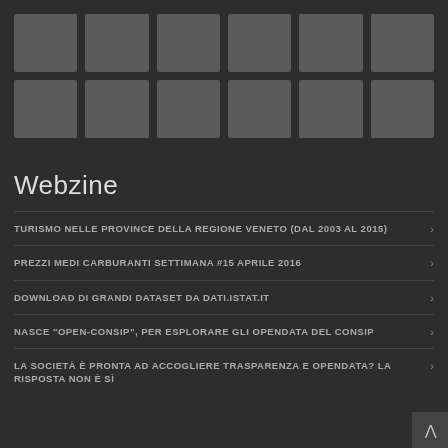[Figure (other): Two rows of six grey placeholder tiles forming a grid, dark background]
Webzine
TURISMO NELLE PROVINCE DELLA REGIONE VENETO (DAL 2003 AL 2015)
PREZZI MEDI CARBURANTI SETTIMANA #15 APRILE 2016
DOWNLOAD DI GRANDI DATASET DA DATI.ISTAT.IT
NASCE "OPEN-CONSIP", PER ESPLORARE GLI OPENDATA DEL CONSIP
LA SOCIETÀ È PRONTA AD ACCOGLIERE TRASPARENZA E OPENDATA? LA RISPOSTA NON È SÌ